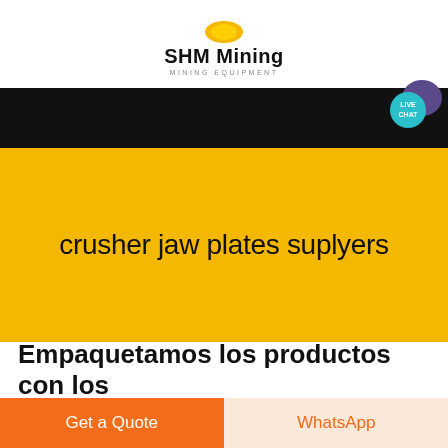[Figure (logo): SHM Mining logo with yellow sun/circle icon, bold company name 'SHM Mining' and subtitle 'MINING EQUIPMENT']
[Figure (screenshot): Black navigation bar with LIVE CHAT button (teal circle with purple speech bubble icon) in top right]
crusher jaw plates suplyers
Empaquetamos los productos con los
Get a Quote
WhatsApp